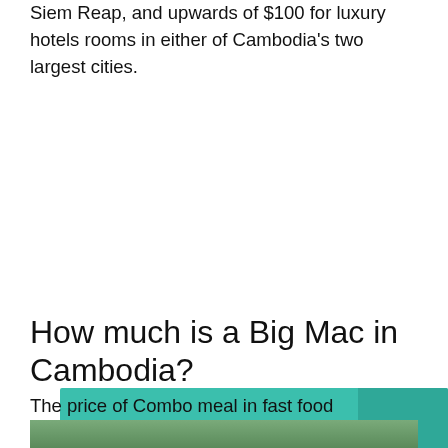Siem Reap, and upwards of $100 for luxury hotels rooms in either of Cambodia's two largest cities.
[Figure (infographic): Teal/green banner with Cyrillic text 'ЭТО ИНТЕРЕСНО:' underlined in white, followed by bold text 'Why is Laos a bad country?' with a right-pointing chevron arrow on the right side on a darker teal background.]
How much is a Big Mac in Cambodia?
The price of Combo meal in fast food restaurant (Big Mac Meal or similar) in Phnom Penh is 25,017 Riels. This average is based on 9 price points.
[Figure (photo): Partial photo at bottom of page, appears to show a person outdoors.]